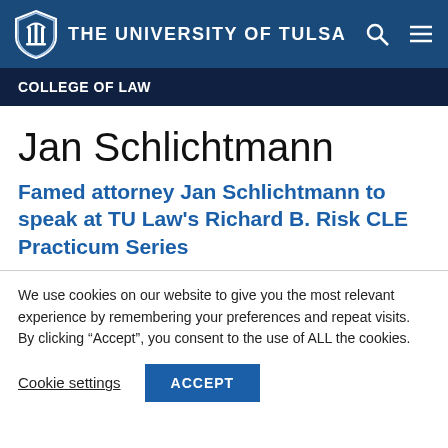THE UNIVERSITY OF TULSA
COLLEGE OF LAW
Jan Schlichtmann
Famed attorney Jan Schlichtmann to speak at TU Law's Richard B. Risk CLE Practicum Series
We use cookies on our website to give you the most relevant experience by remembering your preferences and repeat visits. By clicking "Accept", you consent to the use of ALL the cookies.
Cookie settings | ACCEPT